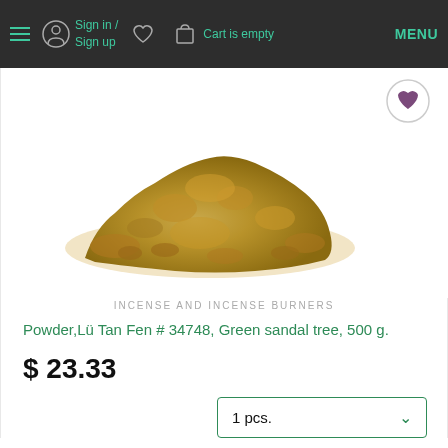Sign in / Sign up   Cart is empty   MENU
[Figure (photo): Pile of golden-brown powder (Green sandalwood/Lü Tan Fen) on white background]
INCENSE AND INCENSE BURNERS
Powder,Lü Tan Fen # 34748, Green sandal tree, 500 g.
$ 23.33
1 pcs.
ADD TO CART